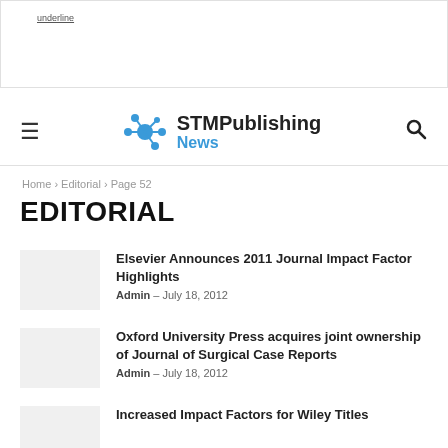underline
[Figure (logo): STM Publishing News logo with blue molecular/network icon and text 'STMPublishing News']
Home › Editorial › Page 52
EDITORIAL
Elsevier Announces 2011 Journal Impact Factor Highlights
Admin - July 18, 2012
Oxford University Press acquires joint ownership of Journal of Surgical Case Reports
Admin - July 18, 2012
Increased Impact Factors for Wiley Titles